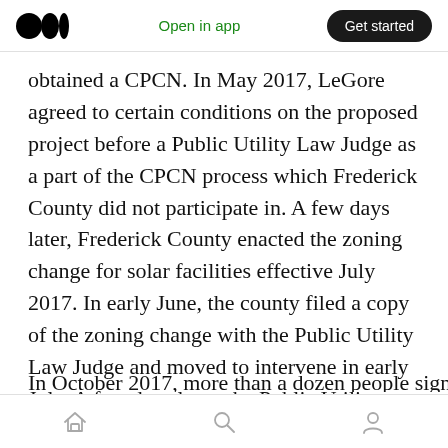Open in app | Get started
obtained a CPCN. In May 2017, LeGore agreed to certain conditions on the proposed project before a Public Utility Law Judge as a part of the CPCN process which Frederick County did not participate in. A few days later, Frederick County enacted the zoning change for solar facilities effective July 2017. In early June, the county filed a copy of the zoning change with the Public Utility Law Judge and moved to intervene in early July. A few days later, the Public Utility Law Judge allowed the county to intervene.
Home | Search | Profile